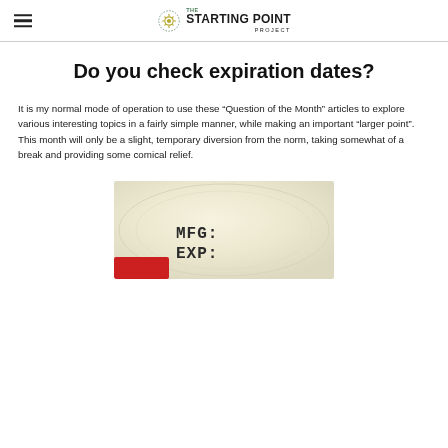The Starting Point Project
Do you check expiration dates?
It is my normal mode of operation to use these “Question of the Month” articles to explore various interesting topics in a fairly simple manner, while making an important “larger point”.  This month will only be a slight, temporary diversion from the norm, taking somewhat of a break and providing some comical relief.
[Figure (photo): Close-up photograph of the top of a can showing stamped text reading MFG: and EXP: (manufacturing and expiration dates), with a red label visible at the bottom edge.]